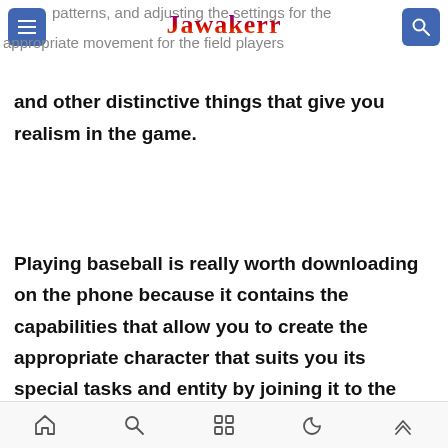patterns, and adjusting the settings for the appropriate movement for the field players
and other distinctive things that give you realism in the game.
Playing baseball is really worth downloading on the phone because it contains the capabilities that allow you to create the appropriate character that suits you its special tasks and entity by joining it to the team and club related to you, and you have to prove that you are the best by choosing the appropriate timing to hit the ball as well as
home search apps night-mode scroll-up icons